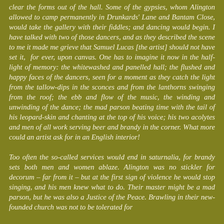clear the forms out of the hall. Some of the gypsies, whom Alington allowed to camp permanently in Drunkards' Lane and Bantam Close, would take the gallery with their fiddles; and dancing would begin. I have talked with two of those dancers, and as they described the scene to me it made me grieve that Samuel Lucas [the artist] should not have set it,  for ever, upon canvas. One has to imagine it now in the half-light of memory: the whitewashed and panelled hall; the flushed and happy faces of the dancers, seen for a moment as they catch the light from the tallow-dips in the sconces and from the lanthorns swinging from the roof; the ebb and flow of the music, the winding and unwinding of the dance; the mad parson beating time with the tail of his leopard-skin and chanting at the top of his voice; his two acolytes and men of all work serving beer and brandy in the corner. What more could an artist ask for in an English interior!
Too often the so-called services would end in saturnalia, for brandy sets both men and women ablaze. Alington was no stickler for decorum – far from it – but at the first sign of violence he would stop singing, and his men knew what to do. Their master might be a mad parson, but he was also a Justice of the Peace. Brawling in their new-founded church was not to be tolerated for